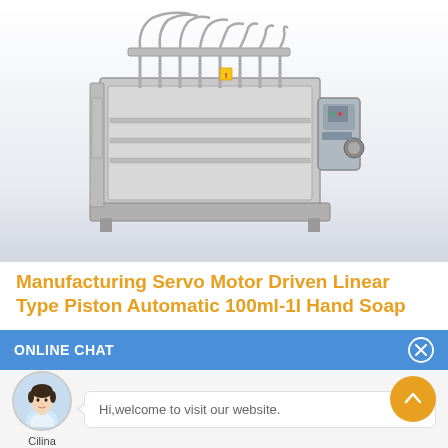[Figure (photo): Stainless steel servo motor driven linear type piston automatic filling machine with multiple filling nozzles and tubing on top, industrial equipment shown on white/gradient background]
Manufacturing Servo Motor Driven Linear Type Piston Automatic 100ml-1l Hand Soap
ONLINE CHAT
[Figure (photo): Avatar photo of a young Asian woman named Cilina in a white business shirt, circular crop]
Hi,welcome to visit our website.
Cilina